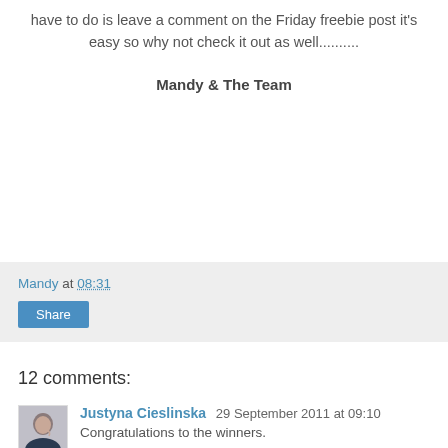have to do is leave a comment on the Friday freebie post it's easy so why not check it out as well..........
Mandy & The Team
Mandy at 08:31
Share
12 comments:
Justyna Cieslinska 29 September 2011 at 09:10
Congratulations to the winners.